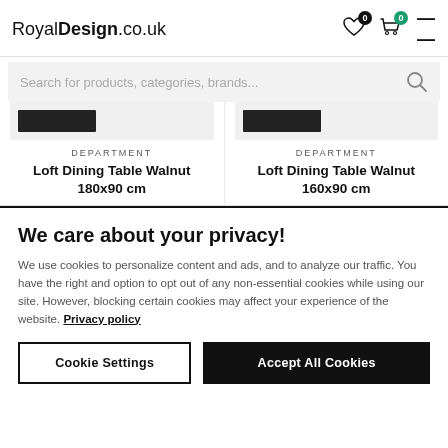RoyalDesign.co.uk
Search for products, categories, brands...
DEPARTMENT
Loft Dining Table Walnut 180x90 cm
DEPARTMENT
Loft Dining Table Walnut 160x90 cm
We care about your privacy!
We use cookies to personalize content and ads, and to analyze our traffic. You have the right and option to opt out of any non-essential cookies while using our site. However, blocking certain cookies may affect your experience of the website. Privacy policy
Cookie Settings | Accept All Cookies